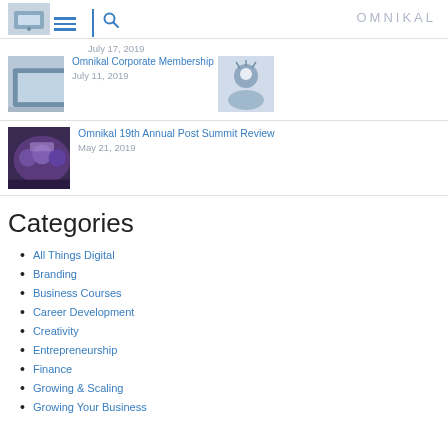OMNIKAL
July 17, 2019
[Figure (screenshot): Thumbnail image of a person using a tablet/phone]
Omnikal Corporate Membership
July 11, 2019
[Figure (photo): Thumbnail image of a person with creative/digital concept]
[Figure (photo): Thumbnail image of group of people at summit event]
Omnikal 19th Annual Post Summit Review
May 21, 2019
Categories
All Things Digital
Branding
Business Courses
Career Development
Creativity
Entrepreneurship
Finance
Growing & Scaling
Growing Your Business